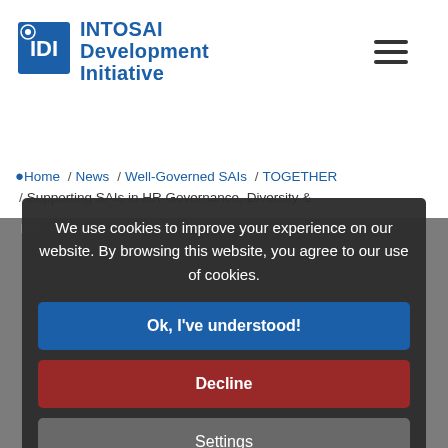INTOSAI Development Initiative
Home / News / Well-Governed SAIs / TOGETHER / Supporting SAIs in HR Governance, Diversity & Ethics Management (TOGETHER)
We use cookies to improve your experience on our website. By browsing this website, you agree to our use of cookies.
Ok, I've understood!
Decline
Settings
More Info